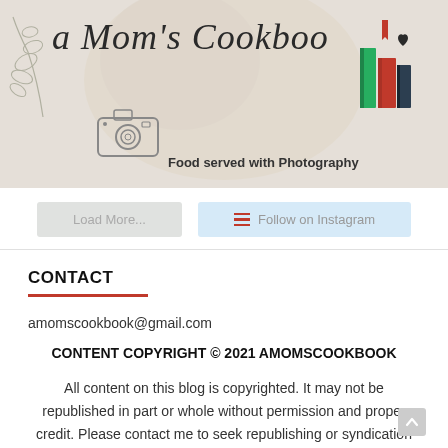[Figure (logo): A Mom's Cookbook logo banner with decorative botanical illustration, camera sketch, book stack illustration, and tagline 'Food served with Photography' on a light gray/beige background with blurred food image behind.]
[Figure (screenshot): Two buttons side by side: 'Load More...' button in light gray, and 'Follow on Instagram' button in light blue with red hamburger/menu icon.]
CONTACT
amomscookbook@gmail.com
CONTENT COPYRIGHT © 2021 AMOMSCOOKBOOK
All content on this blog is copyrighted. It may not be republished in part or whole without permission and proper credit. Please contact me to seek republishing or syndication rights.